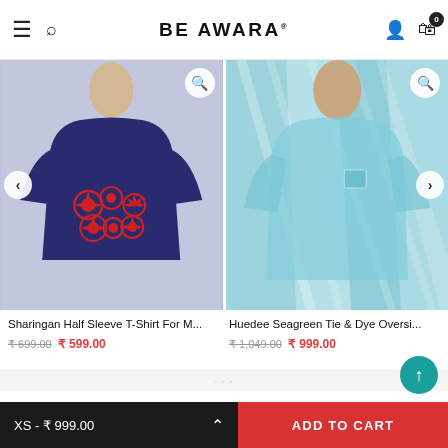BE AWARA
[Figure (photo): Man wearing navy blue Sharingan Half Sleeve T-Shirt with red graphic print]
[Figure (photo): Man wearing Huedee Seagreen Tie & Dye Oversized T-shirt]
Sharingan Half Sleeve T-Shirt For M...
₹ 699.00  ₹ 599.00
Huedee Seagreen Tie & Dye Oversi...
₹ 1,049.00  ₹ 999.00
XS - ₹ 999.00
ADD TO CART